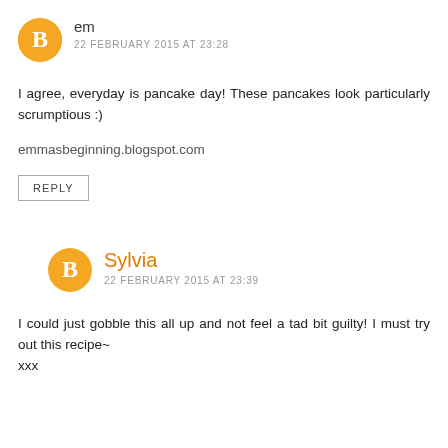[Figure (illustration): Orange circular Blogger avatar icon with white B letter for user 'em']
em
22 FEBRUARY 2015 AT 23:28
I agree, everyday is pancake day! These pancakes look particularly scrumptious :)
emmasbeginning.blogspot.com
REPLY
[Figure (illustration): Orange circular Blogger avatar icon with white B letter for user 'Sylvia']
Sylvia
22 FEBRUARY 2015 AT 23:39
I could just gobble this all up and not feel a tad bit guilty! I must try out this recipe~
xxx